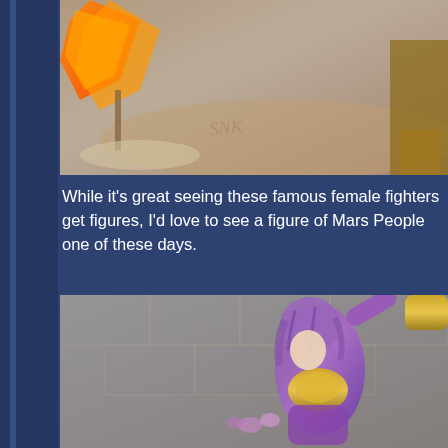[Figure (photo): Close-up photo of an anime figure base/stand with orange flame effect and transparent acrylic base with signature engraving]
While it's great seeing these famous female fighters get figures, I'd love to see a figure of Mars People one of these days.
[Figure (photo): Photo of a female anime/game figure with purple hair and metallic purple and gold armor, shown from the back/side against a blurred stone wall background with flowers]